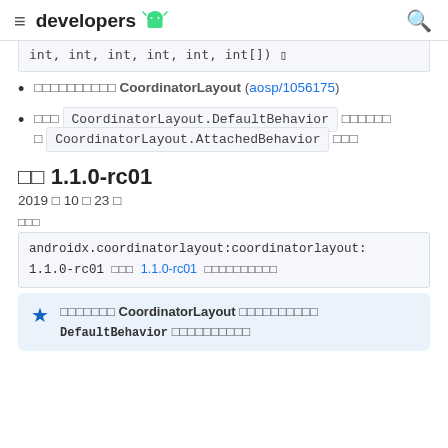developers (android logo)
int, int, int, int, int, int[]) □
□□□□□□□□□□ CoordinatorLayout (aosp/1056175)
□□□ CoordinatorLayout.DefaultBehavior □□□□□□ □ CoordinatorLayout.AttachedBehavior □□□
버전 1.1.0-rc01
2019 년 10 월 23 일
종속
androidx.coordinatorlayout:coordinatorlayout:1.1.0-rc01 □□□ 1.1.0-rc01 □□□□□□□□□□
□□□□□□□ CoordinatorLayout □□□□□□□□□□ DefaultBehavior □□□□□□□□□□